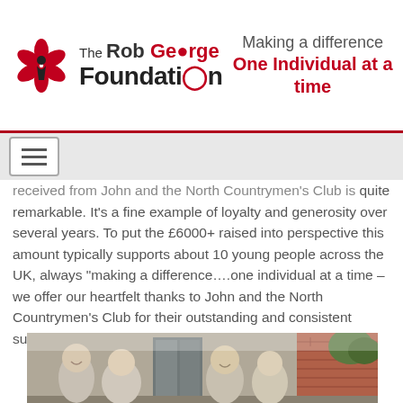The Rob George Foundation — Making a difference One Individual at a time
received from John and the North Countrymen's Club is quite remarkable. It's a fine example of loyalty and generosity over several years. To put the £6000+ raised into perspective this amount typically supports about 10 young people across the UK, always "making a difference….one individual at a time – we offer our heartfelt thanks to John and the North Countrymen's Club for their outstanding and consistent support over many years!"
[Figure (photo): Group photo of men standing outside a building with brick wall in the background]